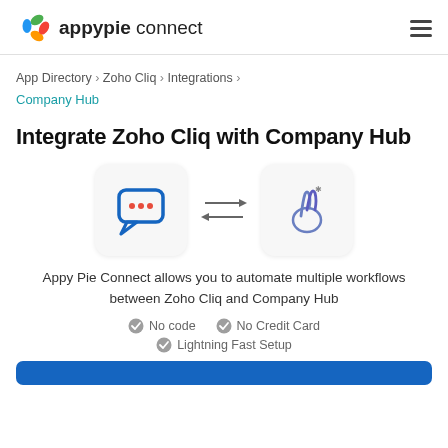appypie connect
App Directory > Zoho Cliq > Integrations > Company Hub
Integrate Zoho Cliq with Company Hub
[Figure (illustration): Two app icons with bidirectional arrows between them. Left icon: Zoho Cliq chat bubble with three dots. Right icon: Company Hub hand gesture logo.]
Appy Pie Connect allows you to automate multiple workflows between Zoho Cliq and Company Hub
No code
No Credit Card
Lightning Fast Setup